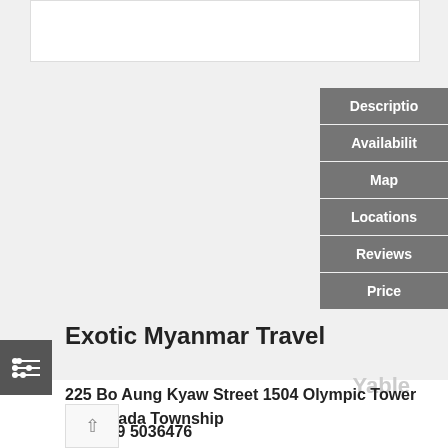[Figure (photo): White image/photo box at top of page]
Description
Availability
Map
Locations
Reviews
Price
Exotic Myanmar Travel
225 Bo Aung Kyaw Street 1504 Olympic Tower Kyauktada Township
+959 5036476
+951 8398429
+951 8392779
+951 8392778